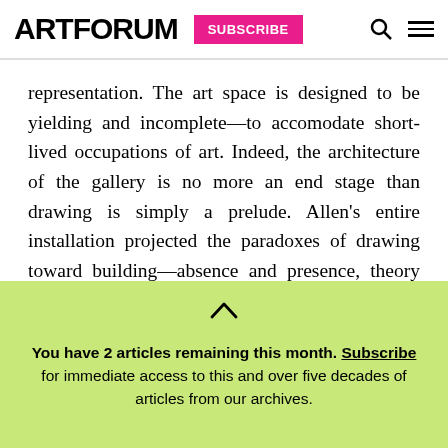ARTFORUM | SUBSCRIBE
representation. The art space is designed to be yielding and incomplete—to accomodate short-lived occupations of art. Indeed, the architecture of the gallery is no more an end stage than drawing is simply a prelude. Allen's entire installation projected the paradoxes of drawing toward building—absence and presence, theory and occupied space. One image appeared in willfully startling contrast: a 1937 diagram from a drafting textbook showed a
You have 2 articles remaining this month. Subscribe for immediate access to this and over five decades of articles from our archives.